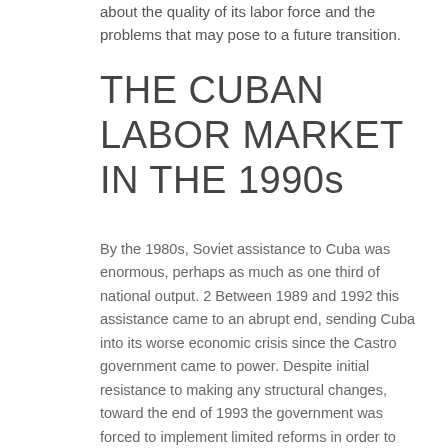about the quality of its labor force and the problems that may pose to a future transition.
THE CUBAN LABOR MARKET IN THE 1990s
By the 1980s, Soviet assistance to Cuba was enormous, perhaps as much as one third of national output. 2 Between 1989 and 1992 this assistance came to an abrupt end, sending Cuba into its worse economic crisis since the Castro government came to power. Despite initial resistance to making any structural changes, toward the end of 1993 the government was forced to implement limited reforms in order to avert disaster. The events surrounding these reforms are well document and will not be discussed here in any detail.3